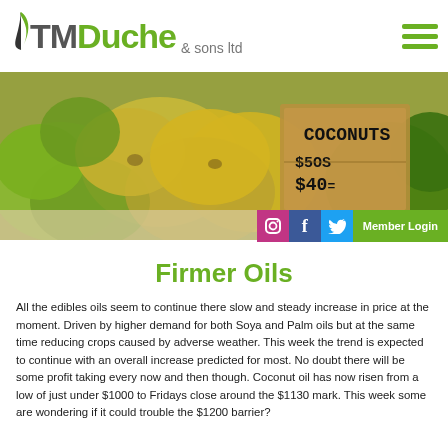TMDuche & sons ltd
[Figure (photo): Hero banner photo of green and yellow coconuts piled at a market stall with a handwritten sign reading COCONUTS $5OS $40=]
Firmer Oils
All the edibles oils seem to continue there slow and steady increase in price at the moment. Driven by higher demand for both Soya and Palm oils but at the same time reducing crops caused by adverse weather. This week the trend is expected to continue with an overall increase predicted for most. No doubt there will be some profit taking every now and then though. Coconut oil has now risen from a low of just under $1000 to Fridays close around the $1130 mark. This week some are wondering if it could trouble the $1200 barrier?